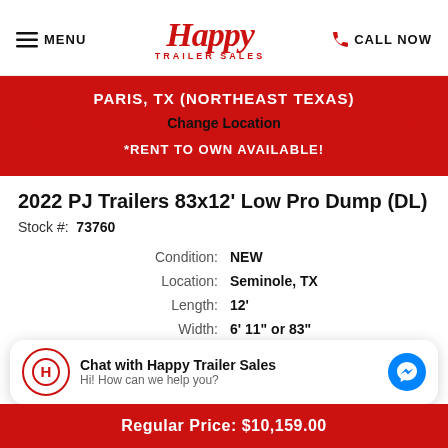MENU | Happy Trailer Sales | CALL NOW
[Figure (logo): Happy Trailer Sales red script logo]
PARIS, TX (NORTHEAST TEXAS)
Change Location
RENT TO OWN AVAILABLE!
2022 PJ Trailers 83x12' Low Pro Dump (DL)
Stock #: 73760
| Field | Value |
| --- | --- |
| Condition: | NEW |
| Location: | Seminole, TX |
| Length: | 12' |
| Width: | 6' 11" or 83" |
Chat with Happy Trailer Sales
Hi! How can we help you?